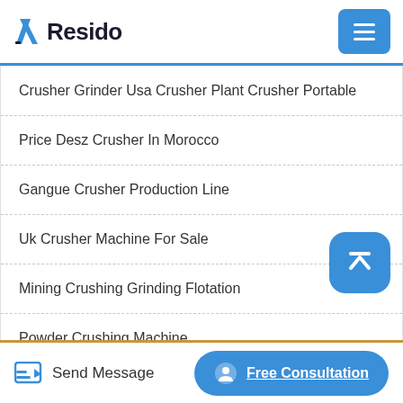Resido
Crusher Grinder Usa Crusher Plant Crusher Portable
Price Desz Crusher In Morocco
Gangue Crusher Production Line
Uk Crusher Machine For Sale
Mining Crushing Grinding Flotation
Powder Crushing Machine
Send Message   Free Consultation